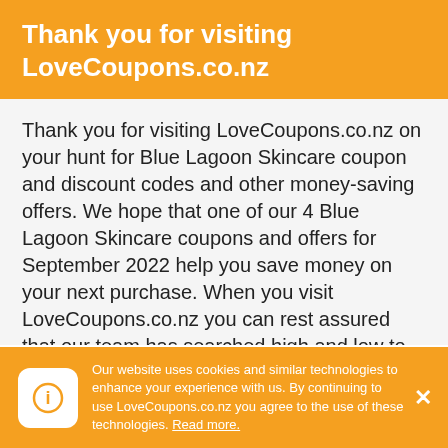Thank you for visiting LoveCoupons.co.nz
Thank you for visiting LoveCoupons.co.nz on your hunt for Blue Lagoon Skincare coupon and discount codes and other money-saving offers. We hope that one of our 4 Blue Lagoon Skincare coupons and offers for September 2022 help you save money on your next purchase. When you visit LoveCoupons.co.nz you can rest assured that our team has searched high and low to find all available Blue Lagoon Skincare deals. This includes checking the Blue Lagoon Skincare social accounts like Facebook, Twitter and Instagram, visiting blogs
Our website uses cookies and similar technologies to enhance your experience with us. By continuing to use LoveCoupons.co.nz you agree to the use of these technologies. Read more.